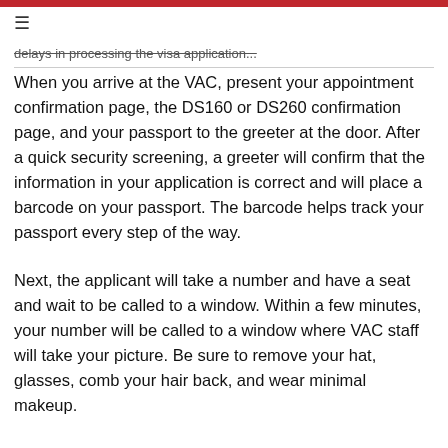≡
...delays in processing the visa application...
When you arrive at the VAC, present your appointment confirmation page, the DS160 or DS260 confirmation page, and your passport to the greeter at the door. After a quick security screening, a greeter will confirm that the information in your application is correct and will place a barcode on your passport. The barcode helps track your passport every step of the way.
Next, the applicant will take a number and have a seat and wait to be called to a window. Within a few minutes, your number will be called to a window where VAC staff will take your picture. Be sure to remove your hat, glasses, comb your hair back, and wear minimal makeup.